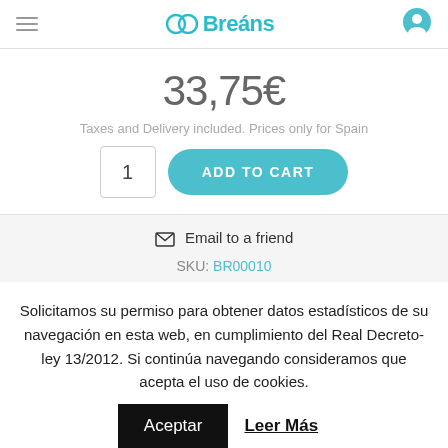Breeáns [logo and navigation header]
33,75€
Taxes and Delivery included. Prices only for Spain
1  ADD TO CART
Email to a friend
SKU: BR00010
Solicitamos su permiso para obtener datos estadísticos de su navegación en esta web, en cumplimiento del Real Decreto-ley 13/2012. Si continúa navegando consideramos que acepta el uso de cookies. Aceptar  Leer Más